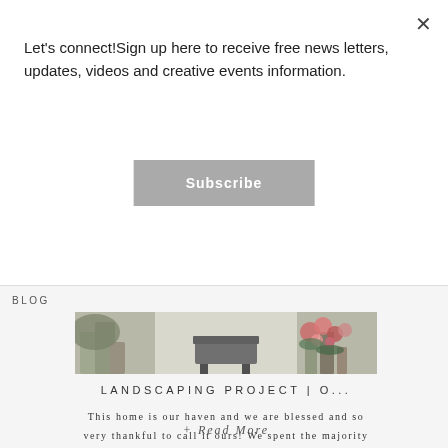Let's connect!Sign up here to receive free news letters, updates, videos and creative events information.
Subscribe
BLOG
[Figure (photo): Partial view of a landscaping scene with plants, flowers, and outdoor furniture]
LANDSCAPING PROJECT | O...
This home is our haven and we are blessed and so very thankful to call it ours! We spent the majority of the year working on home projects, creating a warm and inviting
+ Read More